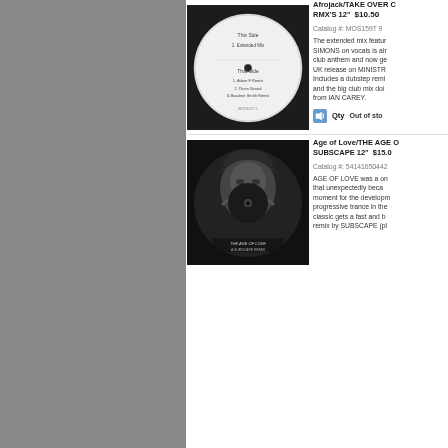[Figure (photo): Vinyl record label image showing white label with text: This Side 1. Extended Mix / That Side 1. Adam F Remix 2. Drum Sound & Bassline Smith Remix]
Afrojack/TAKE OVER CONTROL RMX'S 12"  $10.50
Catalog #: MOS159T 9
The extended mix featuri... SIMONS on vocals is alre... club anthem and now get... UK release on MINISTRY... Includes a dubstep remix... and the big club mix doin... from IAN CAREY.
Qty   Out of sto...
[Figure (photo): Black vinyl record with picture disc showing a woman's face, labeled 'THE AGE OF LOVE - A SUBSCAPE REMIX']
Age of Love/THE AGE OF... SUBSCAPE 12"  $15.0...
Catalog #: 541416504429...
AGE OF LOVE was a on... that unexpectedly becam... moment for the developm... progressive trance in the... classic gets a fast and br... remix by SUBSCAPE (pla...